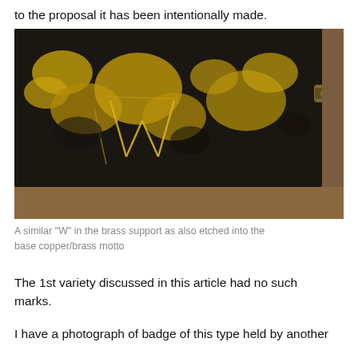to the proposal it has been intentionally made.
[Figure (photo): Close-up photograph of a dark metal badge or plate with gold/brass coloring patches and scoring marks visible, with a brass or metal pin/clasp visible on the right side, set against a brown background.]
A similar “W” in the brass support as also etched into the base copper/brass motto
The 1st variety discussed in this article had no such marks.
I have a photograph of badge of this type held by another